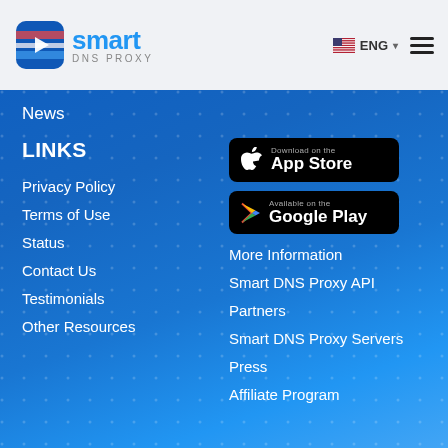Smart DNS Proxy — ENG
News
LINKS
Privacy Policy
Terms of Use
Status
Contact Us
Testimonials
Other Resources
[Figure (logo): Download on the App Store button]
[Figure (logo): Available on the Google Play button]
More Information
Smart DNS Proxy API
Partners
Smart DNS Proxy Servers
Press
Affiliate Program